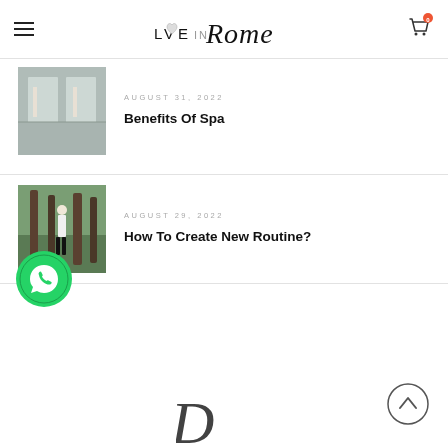Love in Rome — navigation header with hamburger menu and cart icon (0 items)
AUGUST 31, 2022
Benefits Of Spa
[Figure (photo): Photo of a spa interior with white tiled walls]
AUGUST 29, 2022
How To Create New Routine?
[Figure (photo): Photo of a woman hugging a tree in a forest]
[Figure (logo): Decorative script logo partial at bottom center]
[Figure (other): Scroll-to-top circular button with upward chevron]